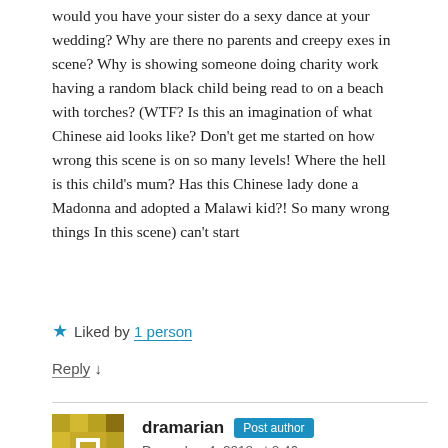would you have your sister do a sexy dance at your wedding? Why are there no parents and creepy exes in scene? Why is showing someone doing charity work having a random black child being read to on a beach with torches? (WTF? Is this an imagination of what Chinese aid looks like? Don't get me started on how wrong this scene is on so many levels! Where the hell is this child's mum? Has this Chinese lady done a Madonna and adopted a Malawi kid?! So many wrong things In this scene) can't start
★ Liked by 1 person
Reply ↓
dramarian  Post author
December 4, 2018 at 2:46 pm